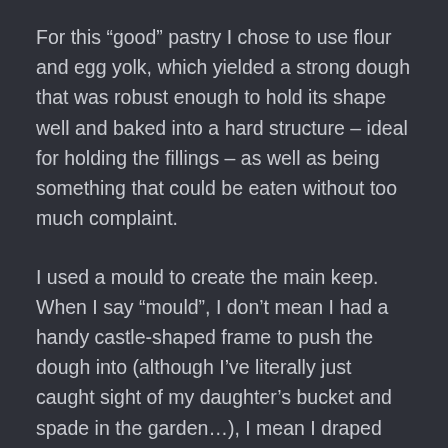For this “good” pastry I chose to use flour and egg yolk, which yielded a strong dough that was robust enough to hold its shape well and baked into a hard structure – ideal for holding the fillings – as well as being something that could be eaten without too much complaint.
I used a mould to create the main keep. When I say “mould”, I don’t mean I had a handy castle-shaped frame to push the dough into (although I’ve literally just caught sight of my daughter’s bucket and spade in the garden…), I mean I draped the dough over a small upturned lasagne dish. It probably wasn’t 100% authentic, but it was the only way I could ensure straight, even